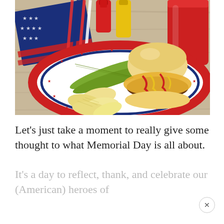[Figure (photo): A patriotic American Memorial Day picnic spread: a red, white, and blue star-patterned paper plate with a cheeseburger topped with ketchup and mustard, pickle spears, and ridged potato chips. In the background are red and yellow condiment bottles, a red cup, and a folded American flag napkin on a wooden table.]
Let’s just take a moment to really give some thought to what Memorial Day is all about.
It’s a day to reflect, thank, and celebrate our (American) heroes of